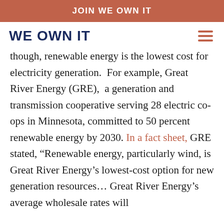JOIN WE OWN IT
WE OWN IT
though, renewable energy is the lowest cost for electricity generation.  For example, Great River Energy (GRE),  a generation and transmission cooperative serving 28 electric co-ops in Minnesota, committed to 50 percent renewable energy by 2030. In a fact sheet, GRE stated, “Renewable energy, particularly wind, is Great River Energy’s lowest-cost option for new generation resources… Great River Energy’s average wholesale rates will